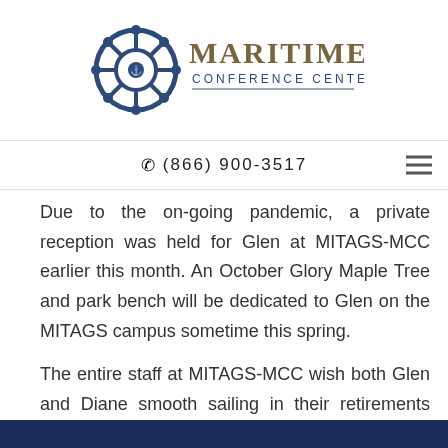[Figure (logo): Maritime Conference Center logo with ship wheel icon and text 'MARITIME CONFERENCE CENTER']
☎ (866) 900-3517
Due to the on-going pandemic, a private reception was held for Glen at MITAGS-MCC earlier this month. An October Glory Maple Tree and park bench will be dedicated to Glen on the MITAGS campus sometime this spring.
The entire staff at MITAGS-MCC wish both Glen and Diane smooth sailing in their retirements and look